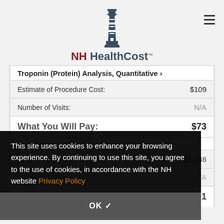NH HealthCost
Troponin (Protein) Analysis, Quantitative >
| Field | Value |
| --- | --- |
| Estimate of Procedure Cost: | $109 |
| Number of Visits: | N/A |
| What You Will Pay: | $73 |
This site uses cookies to enhance your browsing experience. By continuing to use this site, you agree to the use of cookies, in accordance with the NH website Privacy Policy
OK ✓
| Field | Value |
| --- | --- |
| Estimate of Procedure Cost: | $1,046 |
| Number of Visits: | N/A |
| What You Will Pay: | $701 |